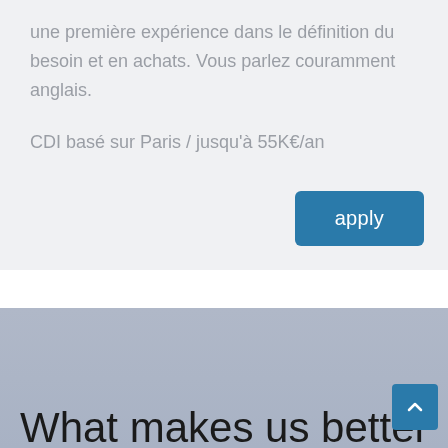une première expérience dans le définition du besoin et en achats. Vous parlez couramment anglais.
CDI basé sur Paris / jusqu'à 55K€/an
apply
What makes us better